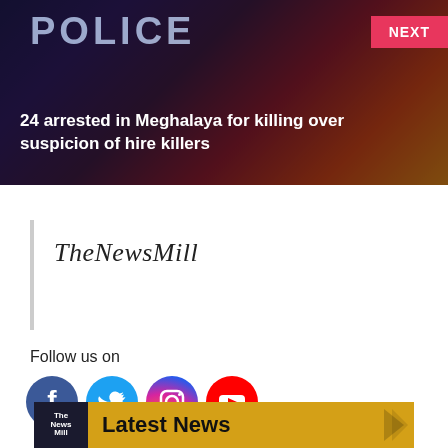[Figure (photo): Hero image of police car with red and blue lights at night, dark dramatic background]
24 arrested in Meghalaya for killing over suspicion of hire killers
[Figure (logo): TheNewsMill logo in italic serif font]
Follow us on
[Figure (infographic): Social media icons: Facebook, Twitter, Instagram, YouTube]
[Figure (infographic): Latest News banner with TheNewsMill logo on golden yellow background]